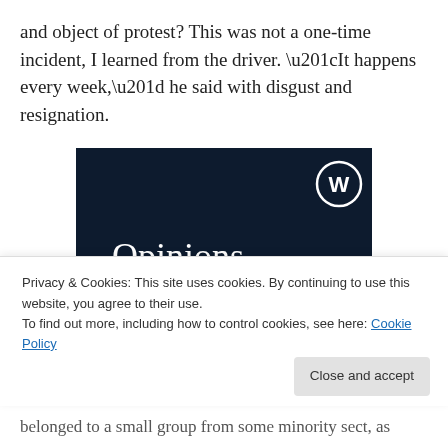and object of protest? This was not a one-time incident, I learned from the driver. “It happens every week,” he said with disgust and resignation.
[Figure (illustration): WordPress advertisement banner with dark navy background showing the WordPress logo (W in a circle) in the top right, and text 'Opinions. We all have them!' in white serif/bold font. A pink button and white circle are partially visible at the bottom.]
Privacy & Cookies: This site uses cookies. By continuing to use this website, you agree to their use.
To find out more, including how to control cookies, see here: Cookie Policy
belonged to a small group from some minority sect, as